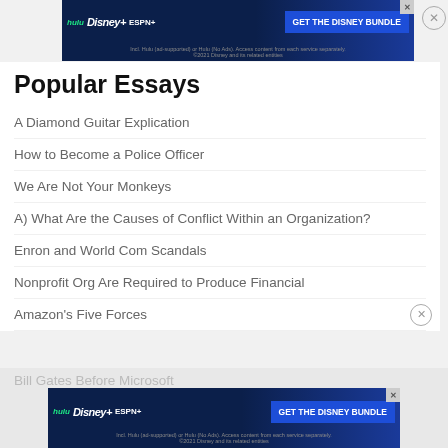[Figure (screenshot): Disney Bundle advertisement banner with Hulu, Disney+, ESPN+ logos and GET THE DISNEY BUNDLE CTA button]
Popular Essays
A Diamond Guitar Explication
How to Become a Police Officer
We Are Not Your Monkeys
A) What Are the Causes of Conflict Within an Organization?
Enron and World Com Scandals
Nonprofit Org Are Required to Produce Financial
Amazon's Five Forces
Bill Gates Before Microsoft
[Figure (screenshot): Disney Bundle advertisement banner at bottom with Hulu, Disney+, ESPN+ logos and GET THE DISNEY BUNDLE CTA button]